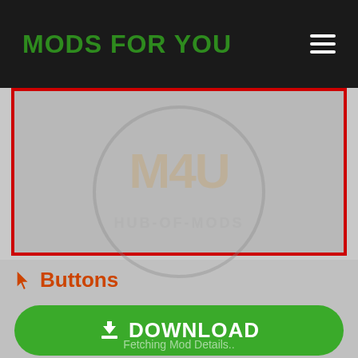MODS FOR YOU
[Figure (screenshot): Gray placeholder/ad area with red border and watermark logo of HUB-OF-MODS (M4U)]
Buttons
DOWNLOAD
Fetching Mod Details..
REPORT
Shareable Link Of This Mod